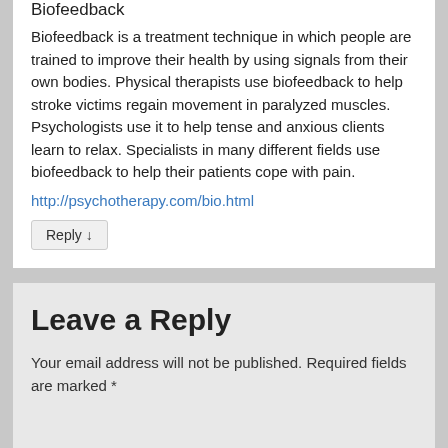Biofeedback
Biofeedback is a treatment technique in which people are trained to improve their health by using signals from their own bodies. Physical therapists use biofeedback to help stroke victims regain movement in paralyzed muscles. Psychologists use it to help tense and anxious clients learn to relax. Specialists in many different fields use biofeedback to help their patients cope with pain.
http://psychotherapy.com/bio.html
Reply ↓
Leave a Reply
Your email address will not be published. Required fields are marked *